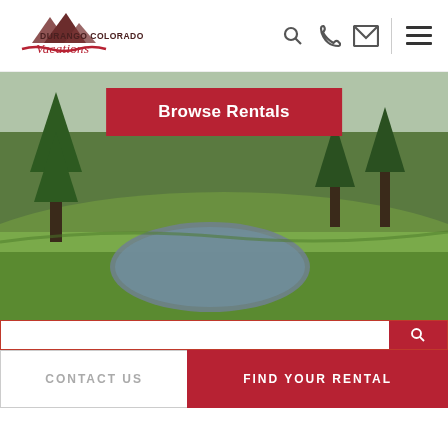[Figure (logo): Durango Colorado Vacations logo with mountain silhouette and cursive text]
Navigation icons: search, phone, email, menu (hamburger)
[Figure (photo): Scenic Colorado alpine meadow with pond, evergreen trees, and green grass]
Browse Rentals
CONTACT US
FIND YOUR RENTAL